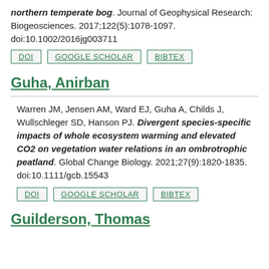northern temperate bog. Journal of Geophysical Research: Biogeosciences. 2017;122(5):1078-1097. doi:10.1002/2016jg003711
DOI | GOOGLE SCHOLAR | BIBTEX
Guha, Anirban
Warren JM, Jensen AM, Ward EJ, Guha A, Childs J, Wullschleger SD, Hanson PJ. Divergent species-specific impacts of whole ecosystem warming and elevated CO2 on vegetation water relations in an ombrotrophic peatland. Global Change Biology. 2021;27(9):1820-1835. doi:10.1111/gcb.15543
DOI | GOOGLE SCHOLAR | BIBTEX
Guilderson, Thomas